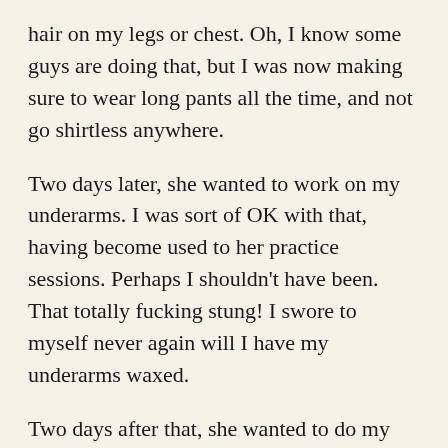hair on my legs or chest. Oh, I know some guys are doing that, but I was now making sure to wear long pants all the time, and not go shirtless anywhere.
Two days later, she wanted to work on my underarms. I was sort of OK with that, having become used to her practice sessions. Perhaps I shouldn't have been. That totally fucking stung! I swore to myself never again will I have my underarms waxed.
Two days after that, she wanted to do my butt. I refused. That would be way wrong. The wrongest part would be the pain. The underarm experience taught me something! No, the worst part, is that my mother would be seeing my junk. It would be